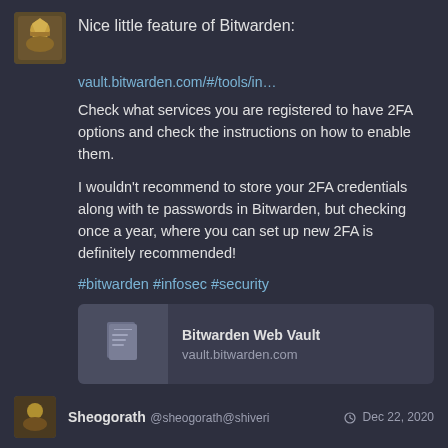[Figure (screenshot): User avatar image - small decorative avatar with gold/brown illustration]
Nice little feature of Bitwarden:
vault.bitwarden.com/#/tools/in…
Check what services you are registered to have 2FA options and check the instructions on how to enable them.
I wouldn't recommend to store your 2FA credentials along with te passwords in Bitwarden, but checking once a year, where you can set up new 2FA is definitely recommended!
#bitwarden #infosec #security
[Figure (screenshot): Link preview card showing Bitwarden Web Vault with document icon, title 'Bitwarden Web Vault' and URL vault.bitwarden.com]
↩ 1  🔁  ★ (reply, retweet, favorite action icons)
Sheogorath @sheogorath@shiveri  Dec 22, 2020